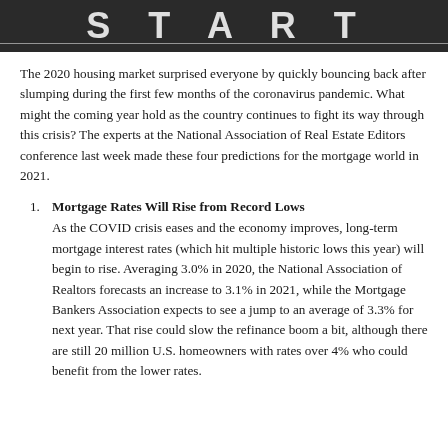[Figure (photo): Dark background image with large bold text (partial, cropped at top), likely a headline image related to housing or real estate with a horizontal white line near the bottom.]
The 2020 housing market surprised everyone by quickly bouncing back after slumping during the first few months of the coronavirus pandemic. What might the coming year hold as the country continues to fight its way through this crisis? The experts at the National Association of Real Estate Editors conference last week made these four predictions for the mortgage world in 2021.
Mortgage Rates Will Rise from Record Lows
As the COVID crisis eases and the economy improves, long-term mortgage interest rates (which hit multiple historic lows this year) will begin to rise. Averaging 3.0% in 2020, the National Association of Realtors forecasts an increase to 3.1% in 2021, while the Mortgage Bankers Association expects to see a jump to an average of 3.3% for next year. That rise could slow the refinance boom a bit, although there are still 20 million U.S. homeowners with rates over 4% who could benefit from the lower rates.